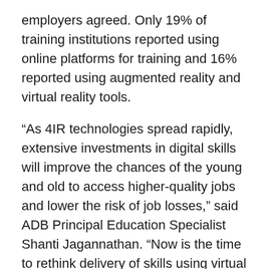employers agreed. Only 19% of training institutions reported using online platforms for training and 16% reported using augmented reality and virtual reality tools.
“As 4IR technologies spread rapidly, extensive investments in digital skills will improve the chances of the young and old to access higher-quality jobs and lower the risk of job losses,” said ADB Principal Education Specialist Shanti Jagannathan. “Now is the time to rethink delivery of skills using virtual platforms and mobile technologies, and to develop agile training institutions with courses and credentials that match market needs.”
ADB is committed to achieving a prosperous,